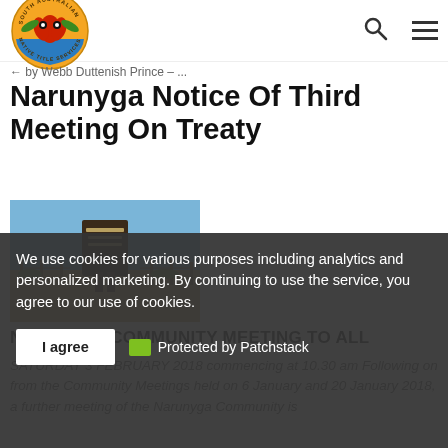South Australian Native Title Services — navigation bar with search and menu icons
← by Webb Duttenish Prince — ...
Narunyga Notice Of Third Meeting On Treaty
[Figure (photo): Photo of a sign or monument outdoors, brown/dark post with text, blue sky and dry landscape in background]
NOTICE OF COMMUNITY MEETING TO ALL
SATURDAY 3 FEBRUARY 2018 commencing at 10.30 am Following on from the Community Meetings held on 6 January and 20 January 2018, a further meeting of the Narunyga Community is
We use cookies for various purposes including analytics and personalized marketing. By continuing to use the service, you agree to our use of cookies.
I agree   Protected by Patchstack